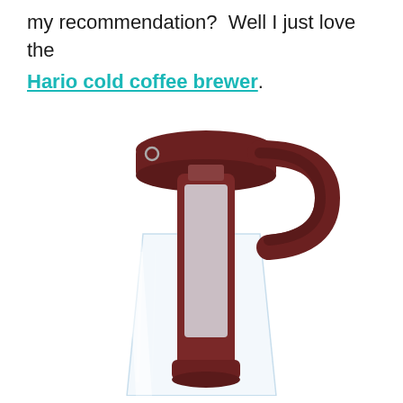my recommendation?  Well I just love the Hario cold coffee brewer.
[Figure (photo): Photo of a Hario cold coffee brewer — a glass carafe with a dark brown plastic lid, handle, and internal filter/strainer insert.]